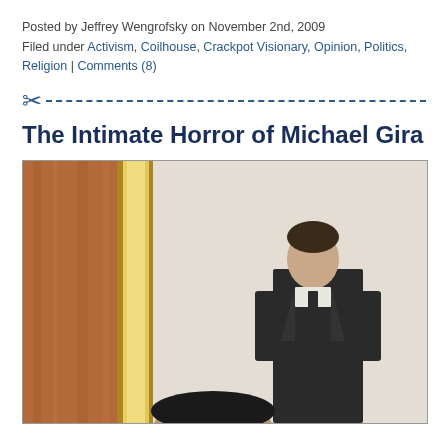Posted by Jeffrey Wengrofsky on November 2nd, 2009
Filed under Activism, Coilhouse, Crackpot Visionary, Opinion, Politics, Religion | Comments (8)
The Intimate Horror of Michael Gira
[Figure (photo): A man in a dark suit and tie standing in a room with ornate golden pillar/column on the left and reddish-brown textured wall. The room has a light-colored background. Another person's head is partially visible in the lower foreground.]